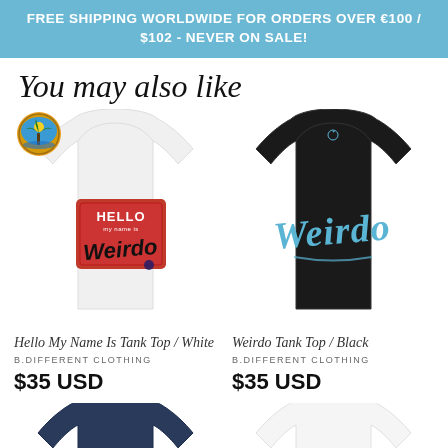FREE SHIPPING WORLDWIDE FOR ORDERS OVER €100 / $102 - NEVER ON SALE!
You may also like
[Figure (photo): White tank top with 'Hello My Name Is Weirdo' graffiti name tag design, with a circular palm tree logo badge in upper left]
[Figure (photo): Black tank top with 'Weirdo' written in light blue script lettering]
Hello My Name Is Tank Top / White
Weirdo Tank Top / Black
B.DIFFERENT CLOTHING
B.DIFFERENT CLOTHING
$35 USD
$35 USD
[Figure (photo): Navy blue tank top, partially visible at bottom of page]
[Figure (photo): White tank top, partially visible at bottom of page]